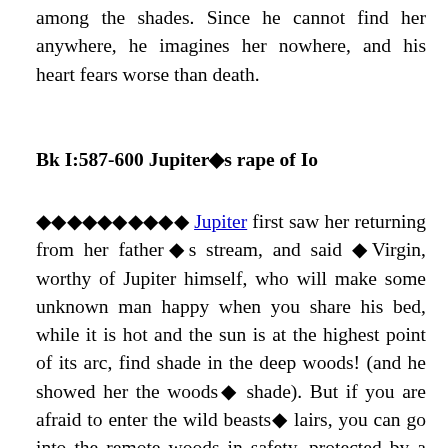among the shades. Since he cannot find her anywhere, he imagines her nowhere, and his heart fears worse than death.
Bk I:587-600 Jupiter's rape of Io
⬥⬥⬥⬥⬥⬥⬥⬥⬥⬥ Jupiter first saw her returning from her father's stream, and said 'Virgin, worthy of Jupiter himself, who will make some unknown man happy when you share his bed, while it is hot and the sun is at the highest point of its arc, find shade in the deep woods! (and he showed her the woods' shade). But if you are afraid to enter the wild beasts' lairs, you can go into the remote woods in safety, protected by a god, and not by any lesser god, but by the one who holds the sceptre of heaven in his mighty hand, and who